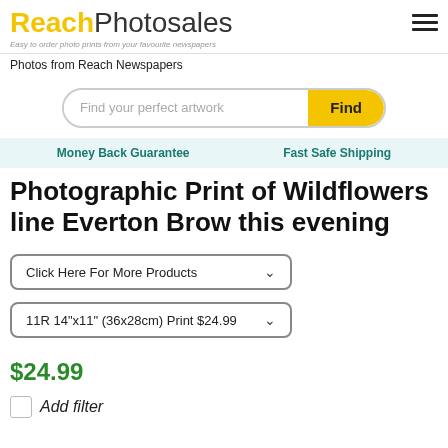[Figure (logo): ReachPhotosales logo with yellow 'Reach' text and tagline 'Easy to order photo prints from your favourite newspapers']
Photos from Reach Newspapers
[Figure (other): Search bar with placeholder 'Find your perfect artwork' and yellow 'Find' button]
Money Back Guarantee	Fast Safe Shipping
Photographic Print of Wildflowers line Everton Brow this evening
[Figure (other): Dropdown: Click Here For More Products]
[Figure (other): Dropdown: 11R 14"x11" (36x28cm) Print $24.99]
$24.99
Add filter